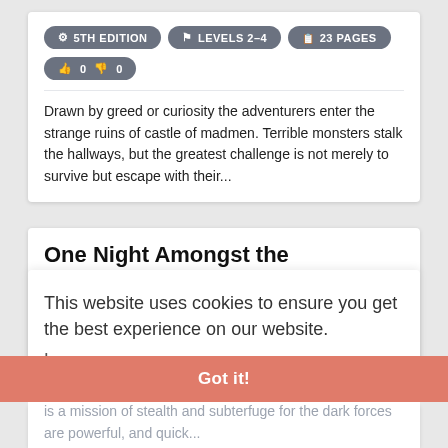5TH EDITION | LEVELS 2-4 | 23 PAGES
👍 0  👎 0
Drawn by greed or curiosity the adventurers enter the strange ruins of castle of madmen. Terrible monsters stalk the hallways, but the greatest challenge is not merely to survive but escape with their...
One Night Amongst the Necromancers
5TH EDITION | LEVELS 2-4 | 20 PAGES
This website uses cookies to ensure you get the best experience on our website.
Learn more
An evil cult gathers for one night of dark acts, and on this night a group of brave adventurers enter their hide out. It is a mission of stealth and subterfuge for the dark forces are powerful, and quick...
Got it!
Tomb of the Dragon's Heart